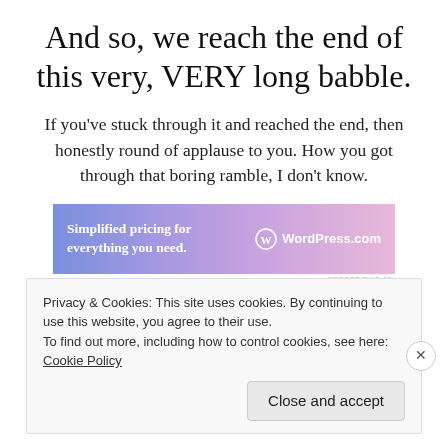And so, we reach the end of this very, VERY long babble.
If you've stuck through it and reached the end, then honestly round of applause to you. How you got through that boring ramble, I don't know.
[Figure (screenshot): WordPress.com advertisement banner with text 'Simplified pricing for everything you need.' and WordPress.com logo on a purple-pink gradient background.]
Privacy & Cookies: This site uses cookies. By continuing to use this website, you agree to their use.
To find out more, including how to control cookies, see here: Cookie Policy